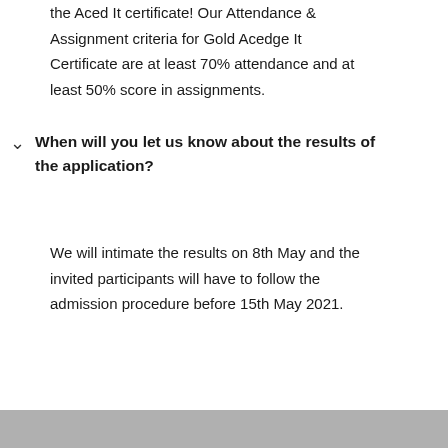the Aced It certificate! Our Attendance & Assignment criteria for Gold Acedge It Certificate are at least 70% attendance and at least 50% score in assignments.
When will you let us know about the results of the application?
We will intimate the results on 8th May and the invited participants will have to follow the admission procedure before 15th May 2021.